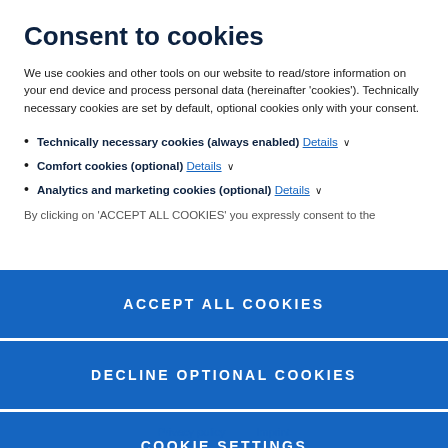Consent to cookies
We use cookies and other tools on our website to read/store information on your end device and process personal data (hereinafter 'cookies'). Technically necessary cookies are set by default, optional cookies only with your consent.
Technically necessary cookies (always enabled) Details ∨
Comfort cookies (optional) Details ∨
Analytics and marketing cookies (optional) Details ∨
By clicking on 'ACCEPT ALL COOKIES' you expressly consent to the
ACCEPT ALL COOKIES
DECLINE OPTIONAL COOKIES
COOKIE SETTINGS
Privacy policy   Imprint